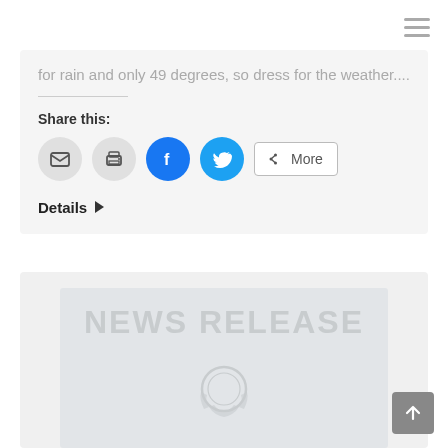for rain and only 49 degrees, so dress for the weather….
Share this:
[Figure (illustration): Social sharing icons: email, print, Facebook (blue circle with f), Twitter (blue circle with bird), and a More button with share icon]
Details ▶
[Figure (illustration): News release banner image with light gray background showing 'NEWS RELEASE' text in large faded letters and a circular emblem/seal below it]